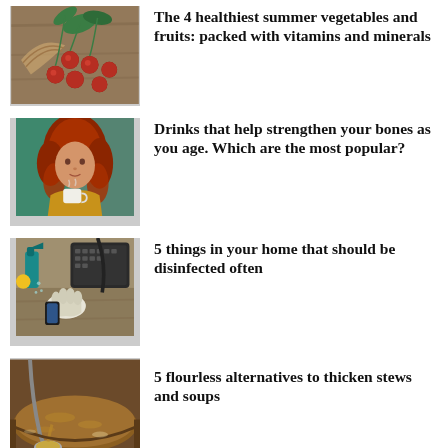[Figure (photo): Cherries spilled from a basket on a wooden surface with green leaves]
The 4 healthiest summer vegetables and fruits: packed with vitamins and minerals
[Figure (photo): Young woman with curly red hair holding a cup of tea or coffee]
Drinks that help strengthen your bones as you age. Which are the most popular?
[Figure (photo): Person wearing gloves disinfecting a phone and keyboard with spray]
5 things in your home that should be disinfected often
[Figure (photo): A spoon with golden-brown liquid over a pot of stew or soup]
5 flourless alternatives to thicken stews and soups